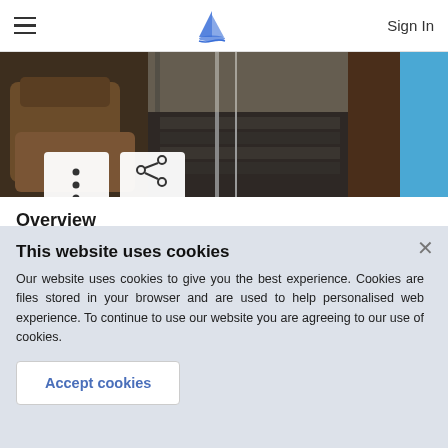Sign In
[Figure (photo): Interior photo strip showing wooden furniture, stairs, and a blue wall in a residential property listing.]
Overview
Living space: 35 m²
This website uses cookies
Our website uses cookies to give you the best experience. Cookies are files stored in your browser and are used to help personalised web experience. To continue to use our website you are agreeing to our use of cookies.
Accept cookies